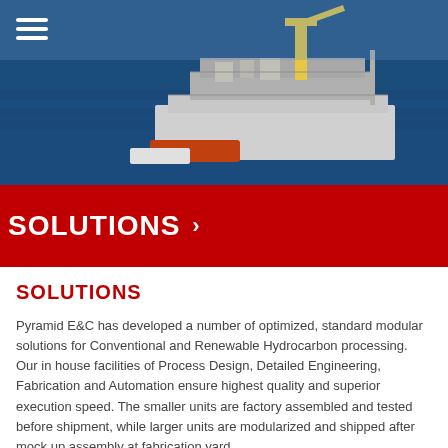[Figure (photo): Aerial view of an offshore oil platform in open blue sea with yellow crane structures and support vessels]
SOLUTIONS »
SOLUTIONS
Pyramid E&C has developed a number of optimized, standard modular solutions for Conventional and Renewable Hydrocarbon processing. Our in house facilities of Process Design, Detailed Engineering, Fabrication and Automation ensure highest quality and superior execution speed. The smaller units are factory assembled and tested before shipment, while larger units are modularized and shipped after mock up assembly at fabrication yard
Oil & Gas Production
Custom Oil & Gas Production Module